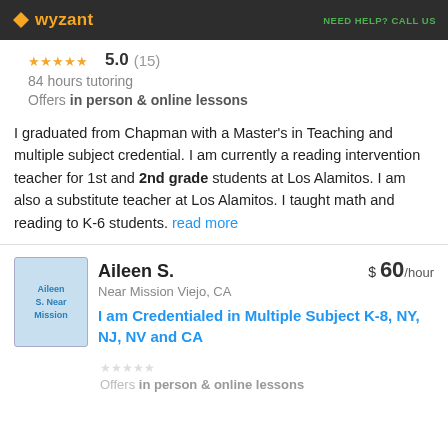wyzant  NEED HELP? CALL US
5.0 (15)
84 hours tutoring
Offers in person & online lessons
I graduated from Chapman with a Master's in Teaching and multiple subject credential. I am currently a reading intervention teacher for 1st and 2nd grade students at Los Alamitos. I am also a substitute teacher at Los Alamitos. I taught math and reading to K-6 students. read more
Aileen S.  $ 60/hour  Near Mission Viejo, CA
I am Credentialed in Multiple Subject K-8, NY, NJ, NV and CA
Offers in person & online lessons